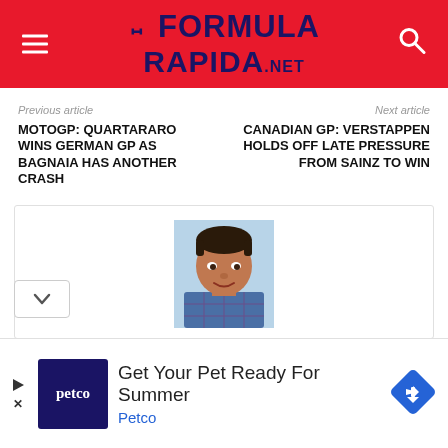FORMULA RAPIDA.NET
Previous article
MOTOGP: QUARTARARO WINS GERMAN GP AS BAGNAIA HAS ANOTHER CRASH
Next article
CANADIAN GP: VERSTAPPEN HOLDS OFF LATE PRESSURE FROM SAINZ TO WIN
[Figure (photo): Author headshot photo of a young person with short dark hair wearing a plaid shirt, smiling]
Get Your Your Pet Ready For Summer
Petco